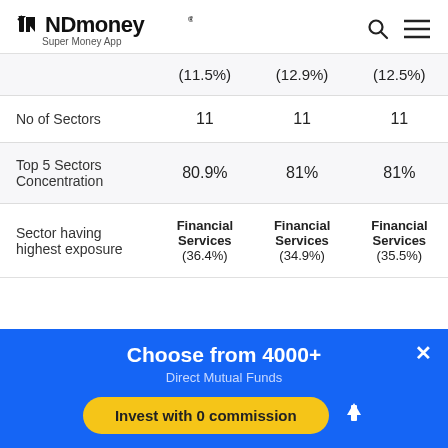INDmoney® Super Money App
|  |  |  |  |
| --- | --- | --- | --- |
|  | (11.5%) | (12.9%) | (12.5%) |
| No of Sectors | 11 | 11 | 11 |
| Top 5 Sectors Concentration | 80.9% | 81% | 81% |
| Sector having highest exposure | Financial Services (36.4%) | Financial Services (34.9%) | Financial Services (35.5%) |
Choose from 4000+
Direct Mutual Funds
Invest with 0 commission